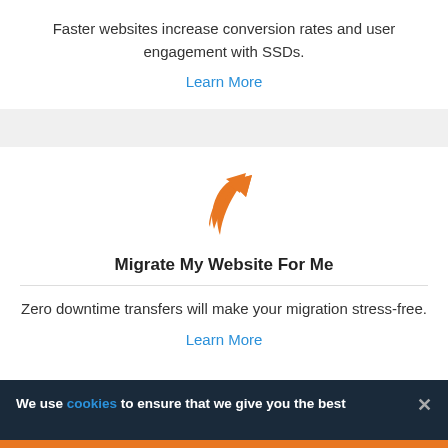Faster websites increase conversion rates and user engagement with SSDs.
Learn More
[Figure (illustration): Orange forward/share arrow icon]
Migrate My Website For Me
Zero downtime transfers will make your migration stress-free.
Learn More
We use cookies to ensure that we give you the best